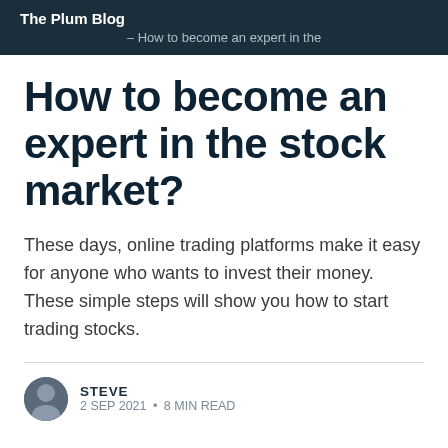The Plum Blog – How to become an expert in the
How to become an expert in the stock market?
These days, online trading platforms make it easy for anyone who wants to invest their money. These simple steps will show you how to start trading stocks.
STEVE
2 SEP 2021 • 8 MIN READ